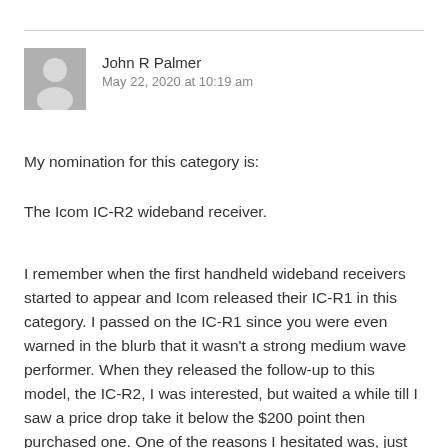[Figure (illustration): Gray avatar placeholder image of a person silhouette]
John R Palmer
May 22, 2020 at 10:19 am
My nomination for this category is:
The Icom IC-R2 wideband receiver.
I remember when the first handheld wideband receivers started to appear and Icom released their IC-R1 in this category. I passed on the IC-R1 since you were even warned in the blurb that it wasn't a strong medium wave performer. When they released the follow-up to this model, the IC-R2, I was interested, but waited a while till I saw a price drop take it below the $200 point then purchased one. One of the reasons I hesitated was, just to look at it, it didn't seem very impressive, no keypad, small screen, etc., it certainly didn't